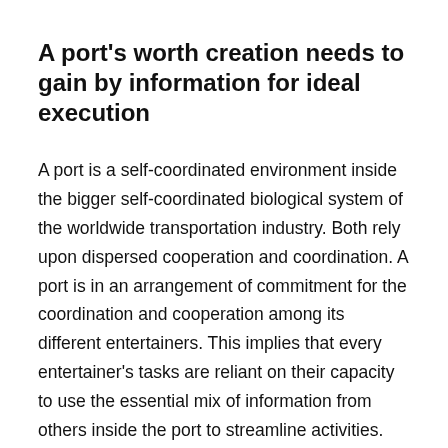A port's worth creation needs to gain by information for ideal execution
A port is a self-coordinated environment inside the bigger self-coordinated biological system of the worldwide transportation industry. Both rely upon dispersed cooperation and coordination. A port is in an arrangement of commitment for the coordination and cooperation among its different entertainers. This implies that every entertainer's tasks are reliant on their capacity to use the essential mix of information from others inside the port to streamline activities. Every entertainer in a port requirements to add to and access forward-thinking situational attention to accomplish a